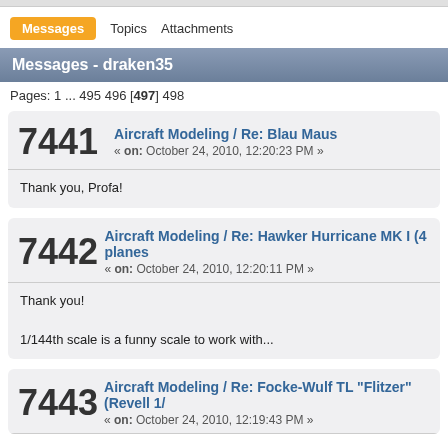Messages  Topics  Attachments
Messages - draken35
Pages: 1 ... 495 496 [497] 498
7441 Aircraft Modeling / Re: Blau Maus « on: October 24, 2010, 12:20:23 PM » Thank you, Profa!
7442 Aircraft Modeling / Re: Hawker Hurricane MK I (4 planes « on: October 24, 2010, 12:20:11 PM » Thank you! 1/144th scale is a funny scale to work with...
7443 Aircraft Modeling / Re: Focke-Wulf TL "Flitzer" (Revell 1/... « on: October 24, 2010, 12:19:43 PM »